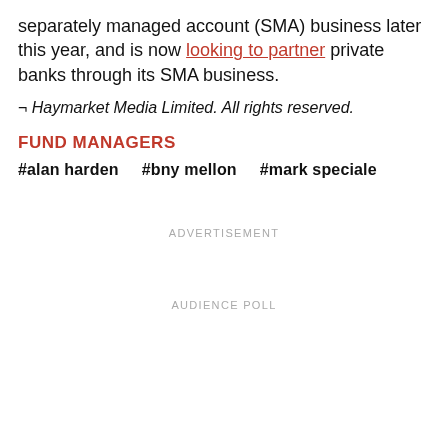separately managed account (SMA) business later this year, and is now looking to partner private banks through its SMA business.
¬ Haymarket Media Limited. All rights reserved.
FUND MANAGERS
#alan harden    #bny mellon    #mark speciale
ADVERTISEMENT
AUDIENCE POLL